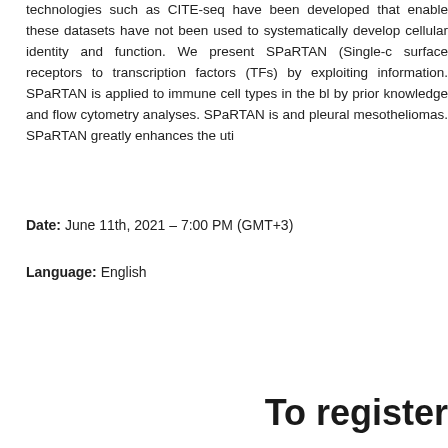technologies such as CITE-seq have been developed that ena... these datasets have not been used to systematically develop cellular identity and function. We present SPaRTAN (Single-c surface receptors to transcription factors (TFs) by exploiting information. SPaRTAN is applied to immune cell types in the bl by prior knowledge and flow cytometry analyses. SPaRTAN is and pleural mesotheliomas. SPaRTAN greatly enhances the uti
Date: June 11th, 2021 – 7:00 PM (GMT+3)
Language: English
To register